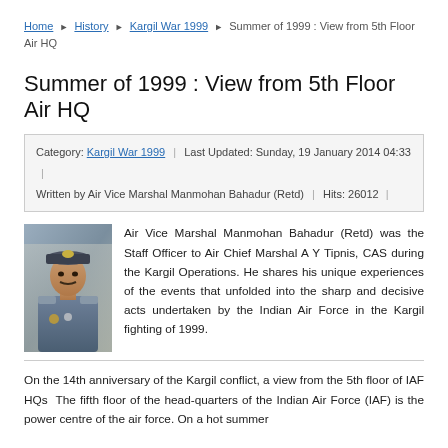Home ▶ History ▶ Kargil War 1999 ▶ Summer of 1999 : View from 5th Floor Air HQ
Summer of 1999 : View from 5th Floor Air HQ
Category: Kargil War 1999 | Last Updated: Sunday, 19 January 2014 04:33 | Written by Air Vice Marshal Manmohan Bahadur (Retd) | Hits: 26012
[Figure (photo): Portrait photo of Air Vice Marshal Manmohan Bahadur in military uniform]
Air Vice Marshal Manmohan Bahadur (Retd) was the Staff Officer to Air Chief Marshal A Y Tipnis, CAS during the Kargil Operations. He shares his unique experiences of the events that unfolded into the sharp and decisive acts undertaken by the Indian Air Force in the Kargil fighting of 1999.
On the 14th anniversary of the Kargil conflict, a view from the 5th floor of IAF HQs  The fifth floor of the head-quarters of the Indian Air Force (IAF) is the power centre of the air force. On a hot summer